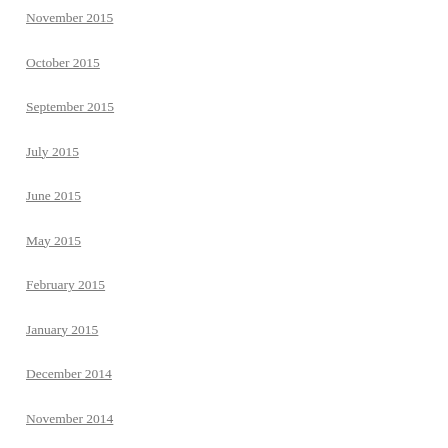November 2015
October 2015
September 2015
July 2015
June 2015
May 2015
February 2015
January 2015
December 2014
November 2014
October 2014
September 2014
August 2014
June 2014
May 2014
April 2014
March 2014
February 2014
January 2014